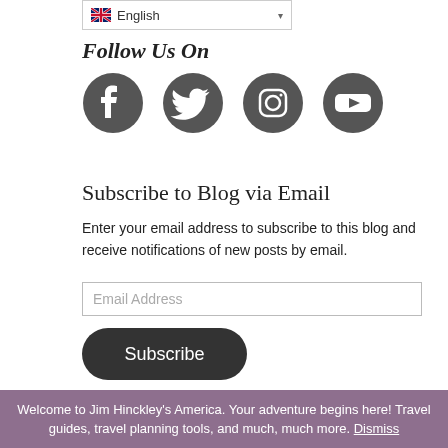[Figure (other): Language selector dropdown showing English with flag icon]
Follow Us On
[Figure (other): Social media icons: Facebook, Twitter, Instagram, YouTube]
Subscribe to Blog via Email
Enter your email address to subscribe to this blog and receive notifications of new posts by email.
[Figure (other): Email Address input field]
[Figure (other): Subscribe button (dark rounded rectangle)]
Join 7,442 other subscribers
Privacy & Cookies: This site uses cookies. By continuing to use this website, you agree to their use. To find out more, including how to control cookies, see here: Cookie Policy
Welcome to Jim Hinckley's America. Your adventure begins here! Travel guides, travel planning tools, and much, much more. Dismiss